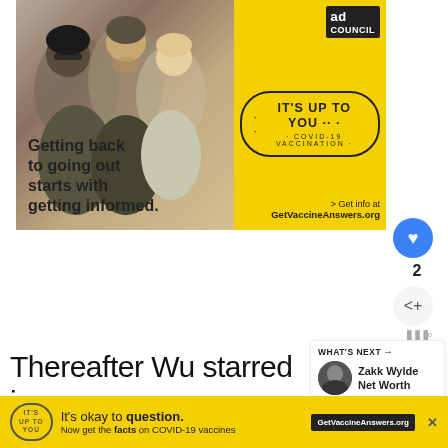[Figure (photo): Ad Council advertisement banner. Left side shows a photo of people laughing together outdoors with text: 'Getting back to going out starts with getting informed.' Right side is bright yellow with 'IT'S UP TO YOU COVID-19 VACCINATION' stamp graphic and '> Get info at GetVaccineAnswers.org']
2
WHAT'S NEXT → Zakk Wylde Net Worth
Thereafter Wu starred in many internationals like Tripple X: Return of Xander Cage
[Figure (infographic): Bottom banner ad: 'It's okay to question. Now get the facts on COVID-19 vaccines GetVaccineAnswers.org' on yellow background with IT'S UP TO YOU stamp logo.]